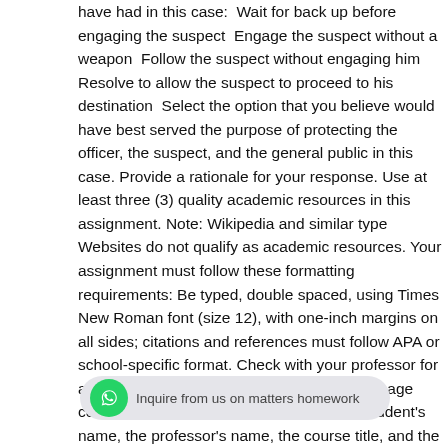have had in this case:  Wait for back up before engaging the suspect  Engage the suspect without a weapon  Follow the suspect without engaging him  Resolve to allow the suspect to proceed to his destination  Select the option that you believe would have best served the purpose of protecting the officer, the suspect, and the general public in this case. Provide a rationale for your response. Use at least three (3) quality academic resources in this assignment. Note: Wikipedia and similar type Websites do not qualify as academic resources. Your assignment must follow these formatting requirements: Be typed, double spaced, using Times New Roman font (size 12), with one-inch margins on all sides; citations and references must follow APA or school-specific format. Check with your professor for any additional instructions.  Include a cover page containing the title of the assignment, the student's name, the professor's name, the course title, and the date. The cover page and the reference page are not included in the required assignment page length.  The specific course learning outcomes associated with this assignment are: Demonstrate basic knowledge of the different elements and aspects of forensic psychology.  Brief and de[…] mental health and forensic psychology.  Use technology and